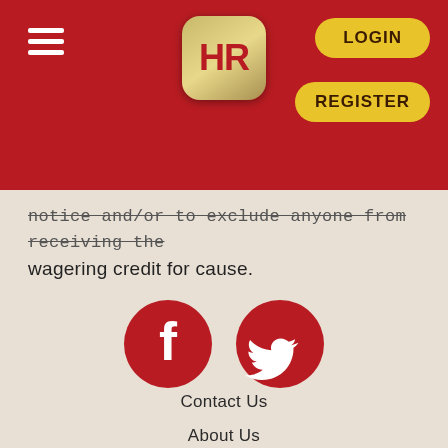HR | LOGIN | REGISTER
notice and/or to exclude anyone from receiving the wagering credit for cause.
[Figure (logo): Facebook and Twitter social media icons as red circles with white symbols]
Contact Us
About Us
F.A.Q.
Terms & Conditions
Responsible Gaming
Responsible Gaming (NY only)